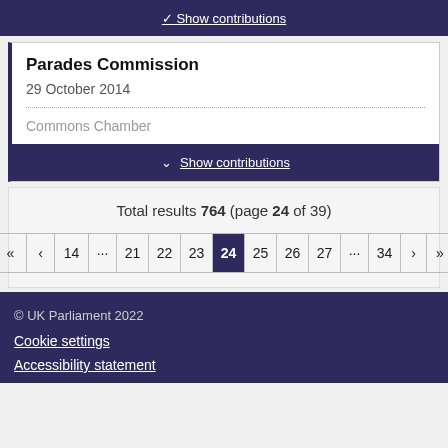Show contributions
Parades Commission
29 October 2014
Commons Chamber
Show contributions
Total results 764 (page 24 of 39)
« ‹ 14 … 21 22 23 24 25 26 27 … 34 › »
© UK Parliament 2022
Cookie settings
Accessibility statement